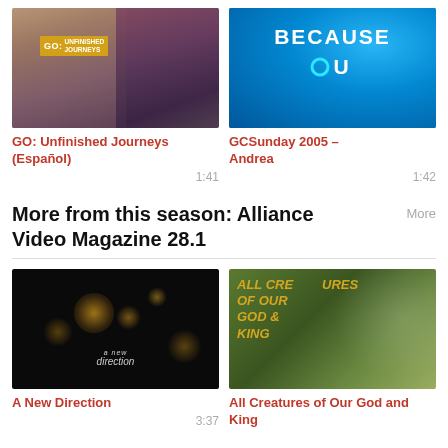[Figure (screenshot): Video thumbnail for GO: Unfinished Journeys (Español) showing two women, with GO badge overlay]
[Figure (screenshot): Video thumbnail showing text BECAUSE YOU on blue background with water drops]
GO: Unfinished Journeys (Español)
1:41
GCSunday 2005 – Andrea
1:42
More from this season: Alliance Video Magazine 28.1
More
[Figure (screenshot): Video thumbnail for A New Direction showing bokeh lights and text 'a new direction' on dark background]
[Figure (screenshot): Video thumbnail for All Creatures of Our God and King showing a toucan with golden text overlay]
A New Direction
3:37
All Creatures of Our God and King